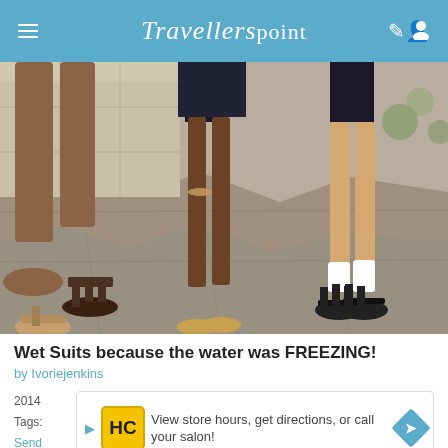Travellerspoint
[Figure (photo): Photo showing people's legs and feet wearing various footwear including sandals and gladiator sandals on stone pavement]
Wet Suits because the water was FREEZING!
by Ivoriejenkins
2014
Tags:
Send
[Figure (other): Advertisement banner: HC logo with text 'View store hours, get directions, or call your salon!' and navigation arrow]